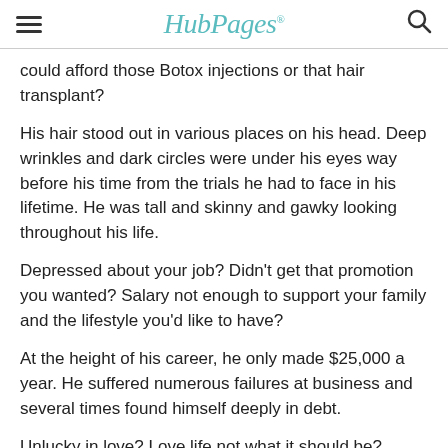HubPages
could afford those Botox injections or that hair transplant?
His hair stood out in various places on his head. Deep wrinkles and dark circles were under his eyes way before his time from the trials he had to face in his lifetime. He was tall and skinny and gawky looking throughout his life.
Depressed about your job? Didn’t get that promotion you wanted? Salary not enough to support your family and the lifestyle you’d like to have?
At the height of his career, he only made $25,000 a year. He suffered numerous failures at business and several times found himself deeply in debt.
Unlucky in love? Love life not what it should be? Marriage not what you expected?
The love of his life died before they were able to marry. He was so distraught he threatened to kill himself. He was